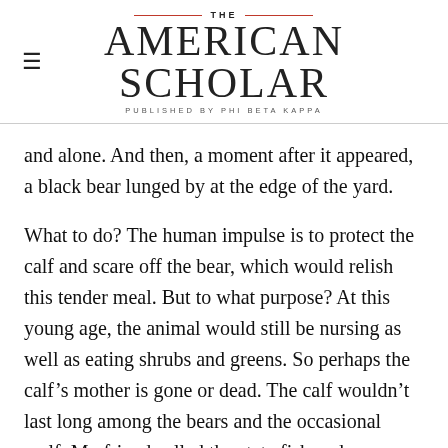THE AMERICAN SCHOLAR — PUBLISHED BY PHI BETA KAPPA
and alone. And then, a moment after it appeared, a black bear lunged by at the edge of the yard.
What to do? The human impulse is to protect the calf and scare off the bear, which would relish this tender meal. But to what purpose? At this young age, the animal would still be nursing as well as eating shrubs and greens. So perhaps the calf's mother is gone or dead. The calf wouldn't last long among the bears and the occasional wolf. My friend called the state fish and game department and got the answer she was expecting.